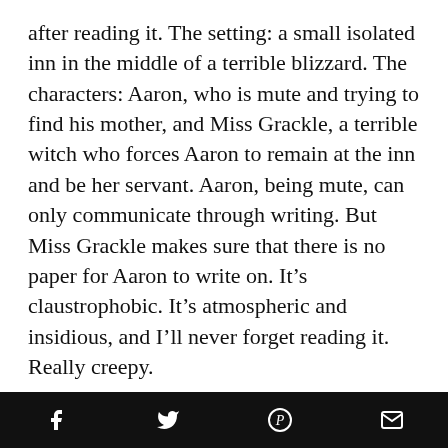after reading it. The setting: a small isolated inn in the middle of a terrible blizzard. The characters: Aaron, who is mute and trying to find his mother, and Miss Grackle, a terrible witch who forces Aaron to remain at the inn and be her servant. Aaron, being mute, can only communicate through writing. But Miss Grackle makes sure that there is no paper for Aaron to write on. It’s claustrophobic. It’s atmospheric and insidious, and I’ll never forget reading it. Really creepy.
[Figure (photo): Book cover image showing a dark, atmospheric illustration with glowing eyes and tree branches, with an orange spine visible on the left]
Social share bar with Facebook, Twitter, Pinterest, and email icons